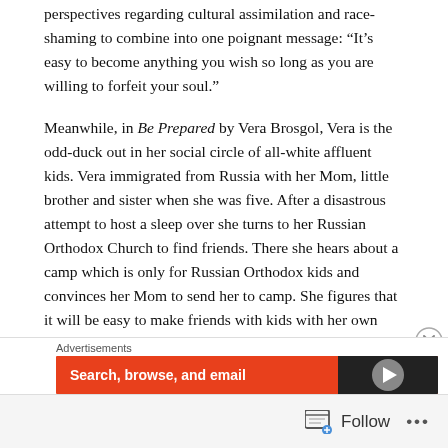perspectives regarding cultural assimilation and race-shaming to combine into one poignant message: “It’s easy to become anything you wish so long as you are willing to forfeit your soul.”
Meanwhile, in Be Prepared by Vera Brosgol, Vera is the odd-duck out in her social circle of all-white affluent kids. Vera immigrated from Russia with her Mom, little brother and sister when she was five. After a disastrous attempt to host a sleep over she turns to her Russian Orthodox Church to find friends. There she hears about a camp which is only for Russian Orthodox kids and convinces her Mom to send her to camp. She figures that it will be easy to make friends with kids with her own cultural [identity, and be less alone]
Advertisements
[Figure (screenshot): Orange advertisement banner reading 'Search, browse, and email' with a dark right section containing a circular icon]
Follow ...